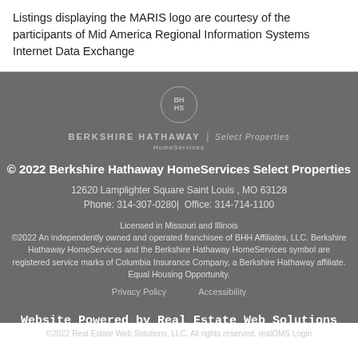Listings displaying the MARIS logo are courtesy of the participants of Mid America Regional Information Systems Internet Data Exchange
[Figure (logo): Berkshire Hathaway HomeServices Select Properties logo with circular BH HS emblem]
© 2022 Berkshire Hathaway HomeServices Select Properties
12620 Lamplighter Square Saint Louis , MO 63128
Phone: 314-307-0280| Office: 314-714-1100
Licensed in Missouri and Illinois
©2022 An independently owned and operated franchisee of BHH Affiliates, LLC. Berkshire Hathaway HomeServices and the Berkshire Hathaway HomeServices symbol are registered service marks of Columbia Insurance Company, a Berkshire Hathaway affiliate. Equal Housing Opportunity.
Privacy Policy        Accessibility
Website Powered by Real Estate Web Solutions
©2022 Real Estate Web Solutions, LLC. All rights reserved. realOMS Login